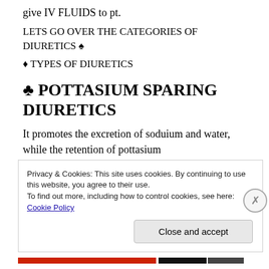give IV FLUIDS to pt.
LETS GO OVER THE CATEGORIES OF DIURETICS ♠
♦ TYPES OF DIURETICS
♣ POTTASIUM SPARING DIURETICS
It promotes the excretion of soduium and water, while the retention of pottasium
Used for:
Privacy & Cookies: This site uses cookies. By continuing to use this website, you agree to their use.
To find out more, including how to control cookies, see here: Cookie Policy
Close and accept